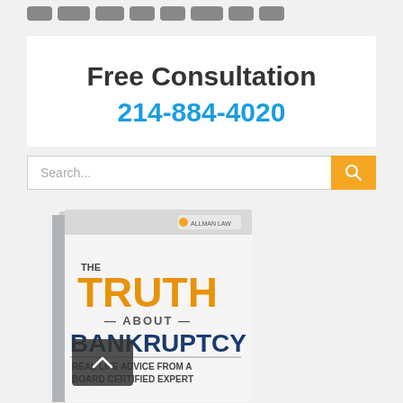[navigation bar with buttons]
Free Consultation
214-884-4020
Search...
[Figure (photo): Book cover titled 'The Truth About Bankruptcy: Real Life Advice from a Board Certified Expert' with Allman Law branding]